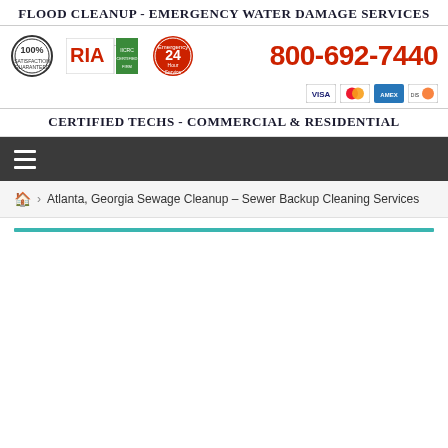Flood Cleanup - Emergency Water Damage Services
[Figure (logo): Header logo bar with 100% quality badge, RIA certification logo, 24-hour emergency service badge, phone number 800-692-7440, and payment card icons]
Certified Techs - Commercial & Residential
Navigation bar with hamburger menu
Atlanta, Georgia Sewage Cleanup – Sewer Backup Cleaning Services